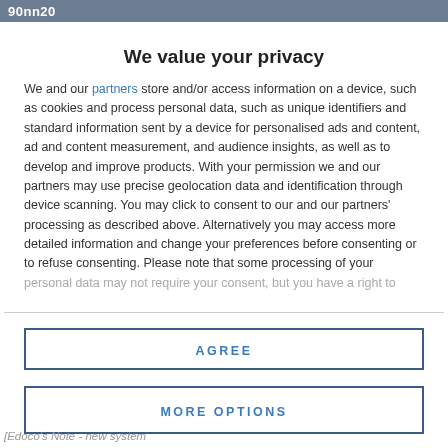90nn20
We value your privacy
We and our partners store and/or access information on a device, such as cookies and process personal data, such as unique identifiers and standard information sent by a device for personalised ads and content, ad and content measurement, and audience insights, as well as to develop and improve products. With your permission we and our partners may use precise geolocation data and identification through device scanning. You may click to consent to our and our partners' processing as described above. Alternatively you may access more detailed information and change your preferences before consenting or to refuse consenting. Please note that some processing of your personal data may not require your consent, but you have a right to
AGREE
MORE OPTIONS
[Edoco's Note - new system